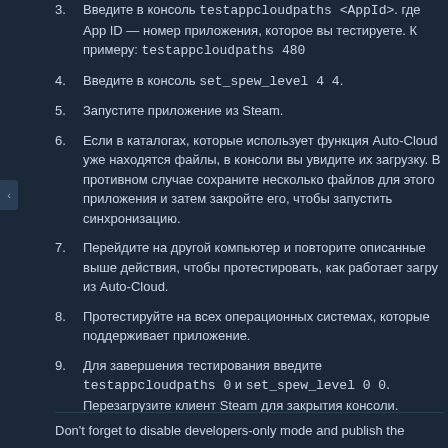3. Введите в консоль testappcloudpaths <AppId>. App ID — номер приложения, которое вы тестируете. К примеру: testappcloudpaths 480
4. Введите в консоль set_spew_level 4 4.
5. Запустите приложение из Steam.
6. Если в каталогах, которые использует функция Auto-Cloud, уже находятся файлы, в консоли вы увидите их загрузку. В противном случае сохраните несколько файлов для этого приложения и затем закройте его, чтобы запустить синхронизацию.
7. Перейдите на другой компьютер и повторите описанные выше действия, чтобы протестировать, как работает загрузка из Auto-Cloud.
8. Протестируйте на всех операционных системах, которые поддерживает приложение.
9. Для завершения тестирования введите testappcloudpaths 0 и set_spew_level 0 0. Перезагрузите клиент Steam для закрытия консоли.
Don't forget to disable developers-only mode and publish the